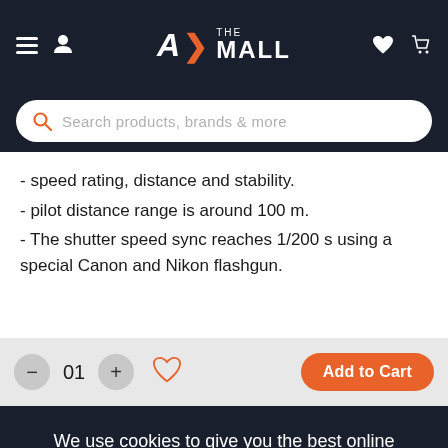[Figure (screenshot): AX The Mall e-commerce website header with hamburger menu, user icon, logo, heart and cart icons]
[Figure (screenshot): Search bar with orange magnifying glass icon and placeholder text 'Search products, brands & more']
- speed rating, distance and stability.
- pilot distance range is around 100 m.
- The shutter speed sync reaches 1/200 s using a special Canon and Nikon flashgun.
[Figure (screenshot): Add to cart bar with minus button, quantity 01, plus button, heart/wishlist icon, and orange 'Add to Cart' button]
We use cookies to give you the best online experience. By using our website you agree to our use of cookies in accordance with our privacy policy
Continue